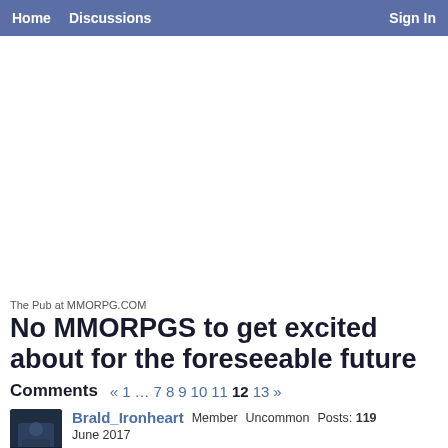Home   Discussions   Sign In
The Pub at MMORPG.COM
No MMORPGS to get excited about for the foreseeable future
Comments   « 1 … 7 8 9 10 11 12 13 »
Brald_Ironheart Member Uncommon Posts: 119 June 2017